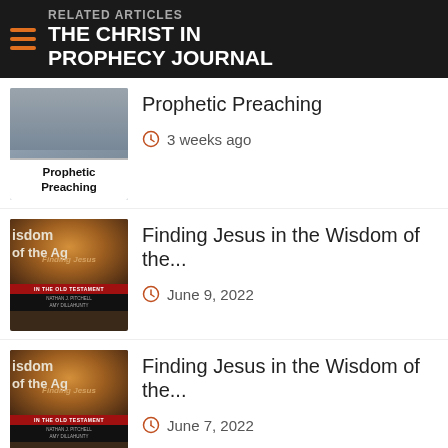RELATED ARTICLES  THE CHRIST IN PROPHECY JOURNAL
Prophetic Preaching
3 weeks ago
[Figure (photo): Thumbnail image for Prophetic Preaching article — shows a white card with 'Prophetic Preaching' in bold text over a grey background with a partial face photo]
Finding Jesus in the Wisdom of the...
June 9, 2022
[Figure (photo): Thumbnail for 'Finding Jesus in the Wisdom of the Ages' book — tree image with gold tones, red banner text 'IN THE OLD TESTAMENT']
Finding Jesus in the Wisdom of the...
June 7, 2022
[Figure (photo): Thumbnail for 'Finding Jesus in the Wisdom of the Ages' book — tree image with gold tones, red banner text 'IN THE OLD TESTAMENT']